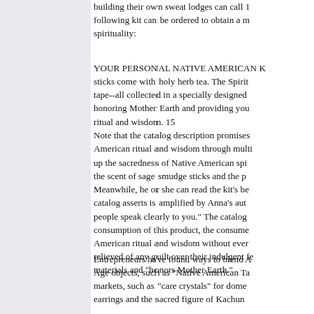building their own sweat lodges can call 1... following kit can be ordered to obtain a m... spirituality:
YOUR PERSONAL NATIVE AMERICAN K... sticks come with holy herb tea. The Spirit... tape--all collected in a specially designed... honoring Mother Earth and providing you... ritual and wisdom. 15 Note that the catalog description promises... American ritual and wisdom through multi... up the sacredness of Native American spi... the scent of sage smudge sticks and the p... Meanwhile, he or she can read the kit's be... catalog asserts is amplified by Anna's aut... people speak clearly to you." The catalog... consumption of this product, the consume... American ritual and wisdom without ever... relieved of any guilt over their indulgent fe... materials and "honors Mother Earth."
Entrepreneurs have found ways to blend A... Age objects, such as "Native American Ta... markets, such as "care crystals" for dome... earrings and the sacred figure of Kachun...